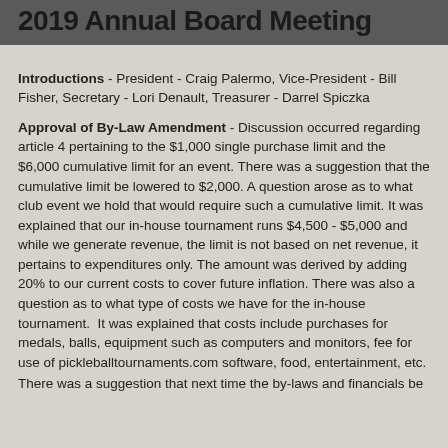2019 Annual Board Meeting
Introductions - President - Craig Palermo, Vice-President - Bill Fisher, Secretary - Lori Denault, Treasurer - Darrel Spiczka
Approval of By-Law Amendment - Discussion occurred regarding article 4 pertaining to the $1,000 single purchase limit and the $6,000 cumulative limit for an event. There was a suggestion that the cumulative limit be lowered to $2,000. A question arose as to what club event we hold that would require such a cumulative limit. It was explained that our in-house tournament runs $4,500 - $5,000 and while we generate revenue, the limit is not based on net revenue, it pertains to expenditures only. The amount was derived by adding 20% to our current costs to cover future inflation. There was also a question as to what type of costs we have for the in-house tournament. It was explained that costs include purchases for medals, balls, equipment such as computers and monitors, fee for use of pickleballtournaments.com software, food, entertainment, etc.
There was a suggestion that next time the by-laws and financials be